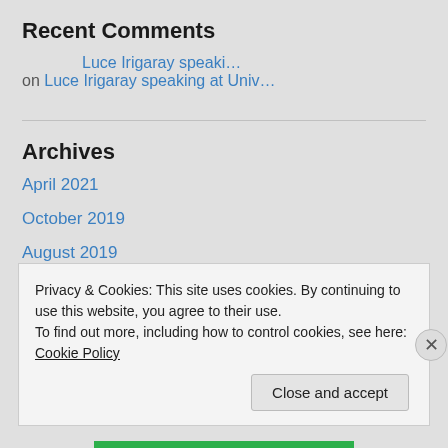Recent Comments
Luce Irigaray speaki… on Luce Irigaray speaking at Univ…
Archives
April 2021
October 2019
August 2019
June 2019
May 2019
Privacy & Cookies: This site uses cookies. By continuing to use this website, you agree to their use.
To find out more, including how to control cookies, see here: Cookie Policy
Close and accept